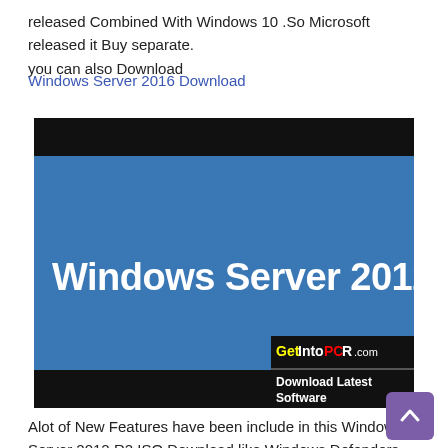released Combined With Windows 10 .So Microsoft released it Buy separate.
you can also Download
Windows Server 2016 Download
[Figure (screenshot): Screenshot of Windows Server 2012 promotional image with blue background and white text reading 'Windows Server 2012'. Bottom right corner shows GetIntoPCR.com logo and 'Download Latest Software' text on black bar.]
Alot of New Features have been include in this Windows Server 2012 R2 ISO Download like Windows Defenders which defend the